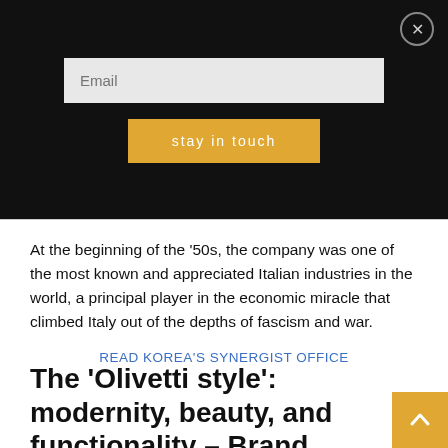[Figure (screenshot): Email subscription overlay with dark background, an email input field, a 'stay in touch' yellow button, and a close X button]
At the beginning of the '50s, the company was one of the most known and appreciated Italian industries in the world, a principal player in the economic miracle that climbed Italy out of the depths of fascism and war.
READ KOREA'S SYNERGIST OFFICE
Adriano Olivetti at the production line
The 'Olivetti style': modernity, beauty, and functionality – Brand Story